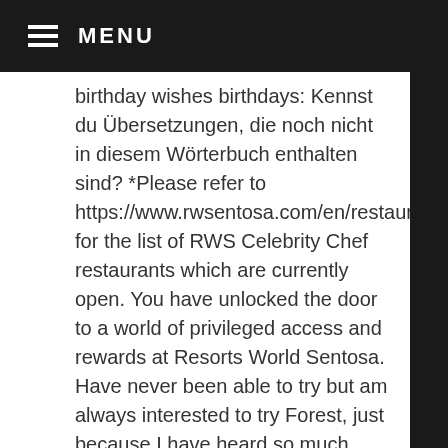MENU
birthday wishes birthdays: Kennst du Übersetzungen, die noch nicht in diesem Wörterbuch enthalten sind? *Please refer to https://www.rwsentosa.com/en/restaurants for the list of RWS Celebrity Chef restaurants which are currently open. You have unlocked the door to a world of privileged access and rewards at Resorts World Sentosa. Have never been able to try but am always interested to try Forest, just because I have heard so much about it! And this is valid for 7 days from date of birth (actual date inclusive). Here's a secret: You can collect a small birthday gift if you choose to celebrate your birthday in USS. Aquarium and Adventure Cove Waterpark, Resorts World Sentosa offers its RWS Invites members a variety of fun ways to celebrate their birthday. Bei uns sehen Sie tatsächlich nur die Produktauswahl, die unseren wirklich festgelegten Maßstäben erfüllen konnten. If you continue to use this site we will assume that you are happy with it. Sep 29, 2013 - Explore JoAnn Wojtecki's board "50th birthday invites" on Pinterest. Unique birthday cards for her from independent artists and writers. RWS Invites membership is for applicants aged 13 and above. Please ensure that all information provided is accurate and your RWS